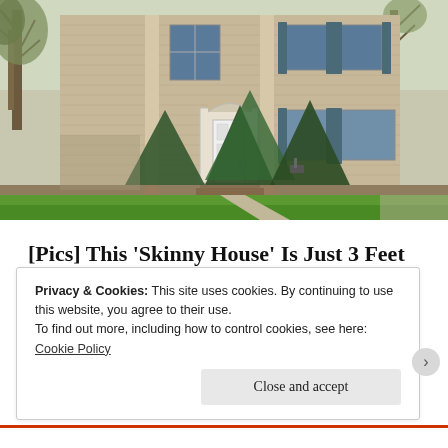[Figure (photo): Exterior photo of a two-story colonial-style house with beige siding, blue shutters, white front door, arched front entry, evergreen shrubs, and a green lawn. Bare trees visible in background on a spring/fall day.]
[Pics] This 'Skinny House' Is Just 3 Feet Wide, But Wait Till You See The Inside!
BuzzFond
Privacy & Cookies: This site uses cookies. By continuing to use this website, you agree to their use.
To find out more, including how to control cookies, see here: Cookie Policy
Close and accept